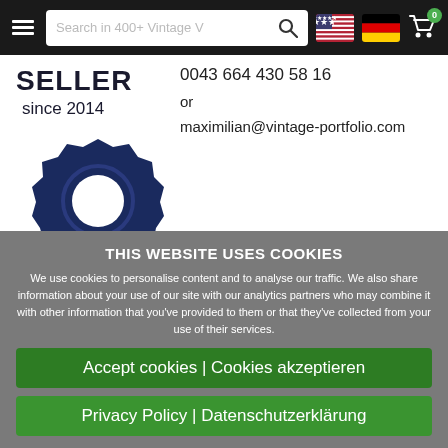[Figure (screenshot): Website navigation bar with hamburger menu, search box reading 'Search in 400+ Vintage V', search icon, US flag, German flag, and shopping cart with badge showing 0]
SELLER
since 2014
[Figure (illustration): Award badge/seal icon in dark navy blue with gold ribbon]
0043 664 430 58 16
or
maximilian@vintage-portfolio.com
THIS WEBSITE USES COOKIES
We use cookies to personalise content and to analyse our traffic. We also share information about your use of our site with our analytics partners who may combine it with other information that you've provided to them or that they've collected from your use of their services.
Accept cookies | Cookies akzeptieren
Privacy Policy | Datenschutzerklärung